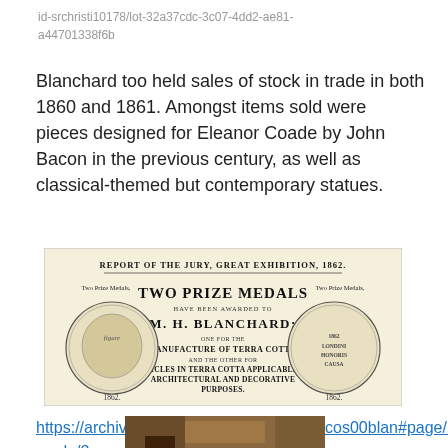id-srchristi10178/lot-32a37cdc-3c07-4dd2-ae81-a44701338f6b
Blanchard too held sales of stock in trade in both 1860 and 1861. Amongst items sold were pieces designed for Eleanor Coade by John Bacon in the previous century, as well as classical-themed but contemporary statues.
[Figure (illustration): Historical advertisement certificate reading 'REPORT OF THE JURY, GREAT EXHIBITION, 1862. TWO PRIZE MEDALS HAVE BEEN AWARDED TO M. H. BLANCHARD; ONE FOR THE MANUFACTURE OF TERRA COTTA, AND THE OTHER FOR ARTICLES IN TERRA COTTA APPLICABLE TO ARCHITECTURAL AND DECORATIVE PURPOSES.' with two circular medal illustrations on either side and the date 1862.]
https://archive.org/stream/blanchardsonscos00blan#page/n3/mode/2up
[Figure (photo): Partial view of a brown/terra cotta colored artifact or piece, mostly cut off at the bottom of the page.]